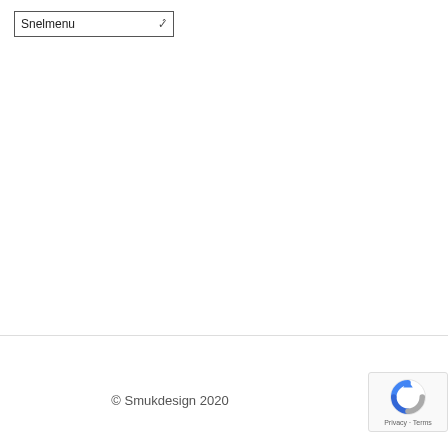Snelmenu
© Smukdesign 2020
[Figure (logo): reCAPTCHA badge with circular arrow logo and Privacy · Terms links]